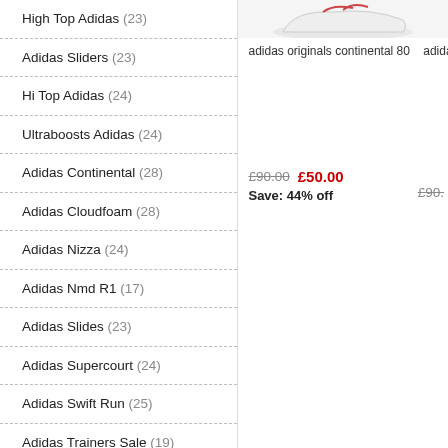High Top Adidas (23)
Adidas Sliders (23)
Hi Top Adidas (24)
Ultraboosts Adidas (24)
Adidas Continental (28)
Adidas Cloudfoam (28)
Adidas Nizza (24)
Adidas Nmd R1 (17)
Adidas Slides (23)
Adidas Supercourt (24)
Adidas Swift Run (25)
Adidas Trainers Sale (19)
Adidas Zx Flux (25)
Kids Adidas Trainers (26)
Ladies Adidas Trainers (25)
Adidas Deerupt (26)
[Figure (photo): White adidas originals continental 80 sneaker, partially visible at top of page]
adidas originals continental 80
adida
£90.00  £50.00  Save: 44% off
£90.